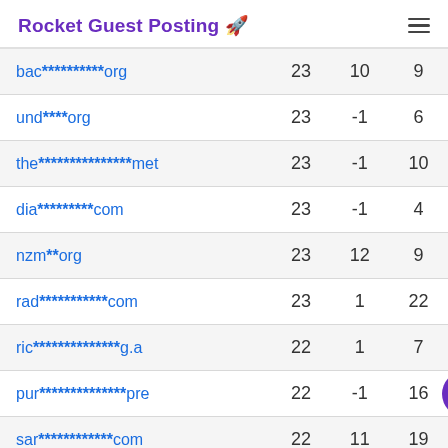Rocket Guest Posting 🚀
| Domain | Col1 | Col2 | Col3 |
| --- | --- | --- | --- |
| bac**********org | 23 | 10 | 9 |
| und****org | 23 | -1 | 6 |
| the***************met | 23 | -1 | 10 |
| dia*********com | 23 | -1 | 4 |
| nzm**org | 23 | 12 | 9 |
| rad***********com | 23 | 1 | 22 |
| ric**************g.a | 22 | 1 | 7 |
| pur**************pre | 22 | -1 | 16 |
| sar************com | 22 | 11 | 19 |